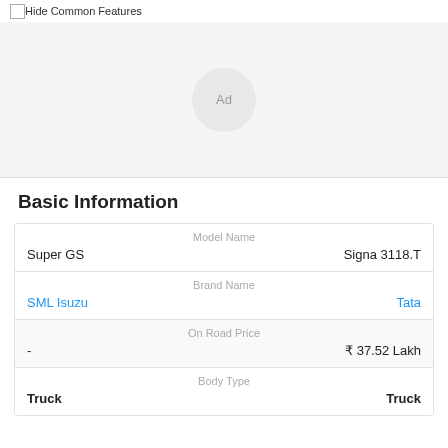Hide Common Features
[Figure (other): Ad placeholder circle in gray area]
Basic Information
| Model Name | Model Name |
| Super GS | Signa 3118.T |
| Brand Name | Brand Name |
| SML Isuzu | Tata |
| On Road Price | On Road Price |
| - | ₹ 37.52 Lakh |
| Body Type | Body Type |
| Truck | Truck |